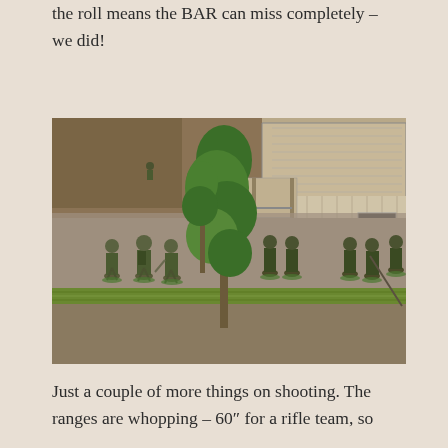the roll means the BAR can miss completely – we did!
[Figure (photo): Overhead view of a miniature wargame tabletop scene showing painted military figures advancing through a village setting with a wooden stilt house, tropical vegetation/trees, and dirt road terrain. Figures appear to be Vietnam War era soldiers.]
Just a couple of more things on shooting. The ranges are whopping – 60" for a rifle team, so